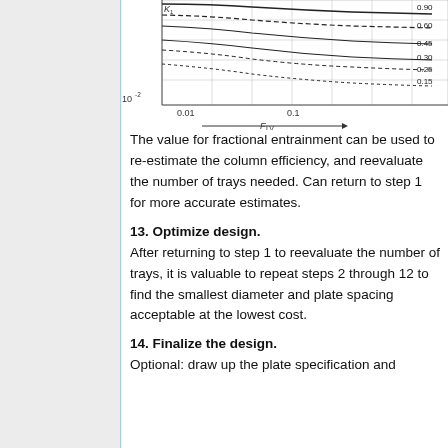[Figure (continuous-plot): Partial view of a log-log chart showing fractional entrainment curves vs F_LV. Y-axis shows values near 10^-2 at bottom. X-axis shows 0.01 and 0.1 with F_LV arrow label. Multiple curves labeled 0.90, 0.60, 0.45, 0.30, 0.25, 0.15 are visible. K1 label visible at top left of chart area.]
The value for fractional entrainment can be used to re-estimate the column efficiency, and reevaluate the number of trays needed. Can return to step 1 for more accurate estimates.
13. Optimize design.
After returning to step 1 to reevaluate the number of trays, it is valuable to repeat steps 2 through 12 to find the smallest diameter and plate spacing acceptable at the lowest cost.
14. Finalize the design.
Optional: draw up the plate specification and